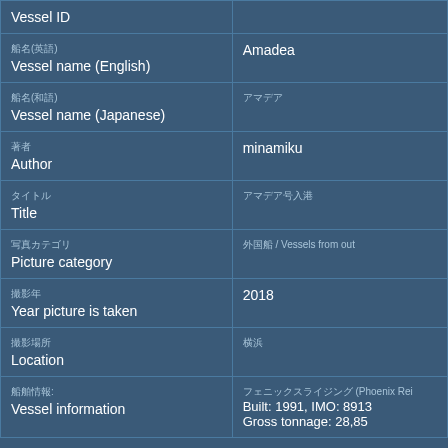| Field | Value |
| --- | --- |
| Vessel ID |  |
| 船名(英語)
Vessel name (English) | Amadea |
| 船名(和語)
Vessel name (Japanese) | アマデア |
| 著者
Author | minamiku |
| タイトル
Title | アマデア号入港 |
| 写真カテゴリ
Picture category | 外国船 / Vessels from out |
| 撮影年
Year picture is taken | 2018 |
| 撮影場所
Location | 横浜 |
| 船舶情報:
Vessel information | フェニックスライジング (Phoenix Rei
Built: 1991, IMO: 8913
Gross tonnage: 28,85 |